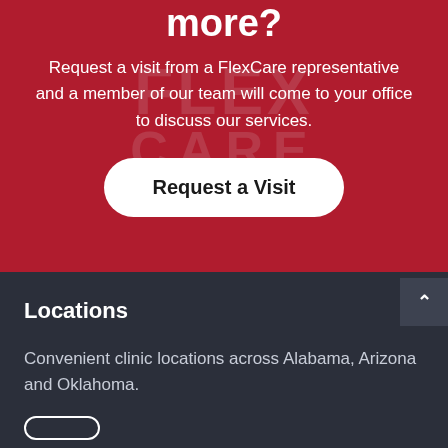more?
Request a visit from a FlexCare representative and a member of our team will come to your office to discuss our services.
[Figure (other): White rounded button labeled 'Request a Visit' on red background]
Locations
Convenient clinic locations across Alabama, Arizona and Oklahoma.